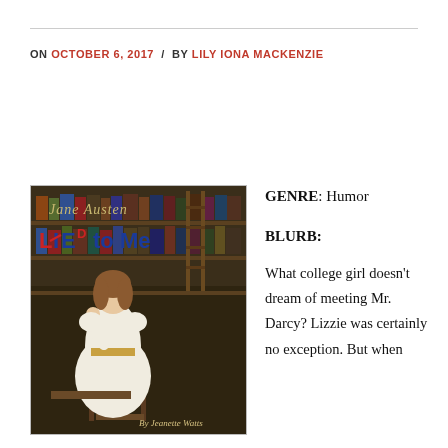ON OCTOBER 6, 2017 / BY LILY IONA MACKENZIE
[Figure (photo): Book cover for 'Jane Austen Lied to Me' by Jeanette Watts, showing a woman in Regency-era white dress sitting in a library, with blue and red stylized title text]
GENRE: Humor
BLURB:
What college girl doesn't dream of meeting Mr. Darcy? Lizzie was certainly no exception. But when